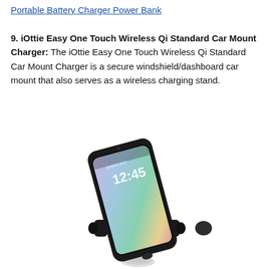Portable Battery Charger Power Bank
9. iOttie Easy One Touch Wireless Qi Standard Car Mount Charger: The iOttie Easy One Touch Wireless Qi Standard Car Mount Charger is a secure windshield/dashboard car mount that also serves as a wireless charging stand.
[Figure (photo): Photo of the iOttie Easy One Touch Wireless Qi Standard Car Mount Charger holding a Samsung Galaxy smartphone with the screen showing 12:45, mounted on a black car mount with suction cup base.]